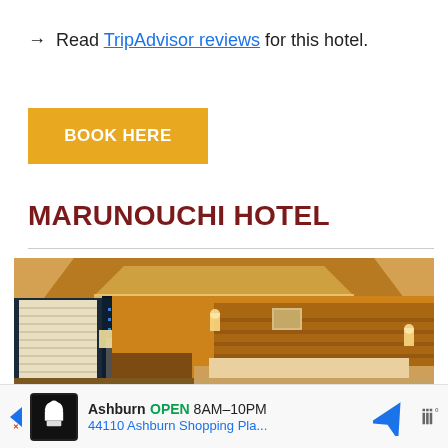→  Read TripAdvisor reviews for this hotel.
BOOK HERE
MARUNOUCHI HOTEL
[Figure (photo): Interior photo of a luxury hotel room at Marunouchi Hotel, showing warm golden lighting, coffered ceiling, large windows with city view at night, bed with upholstered headboard, and wall sconces.]
Ashburn  OPEN  8AM–10PM  44110 Ashburn Shopping Pla...